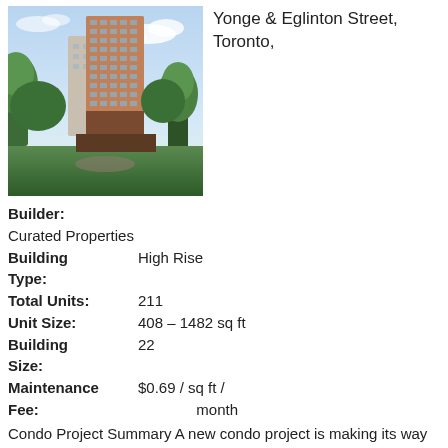[Figure (photo): Architectural rendering of a modern high-rise condominium building surrounded by trees, blue sky with clouds]
Yonge & Eglinton Street, Toronto,
Builder:
Curated Properties
Building Type:
High Rise
Total Units:
211
Unit Size:
408 - 1482 sq ft
Building Size:
22
Maintenance Fee:
$0.69 / sq ft / month
Condo Project Summary A new condo project is making its way to one of the city's most sought-after